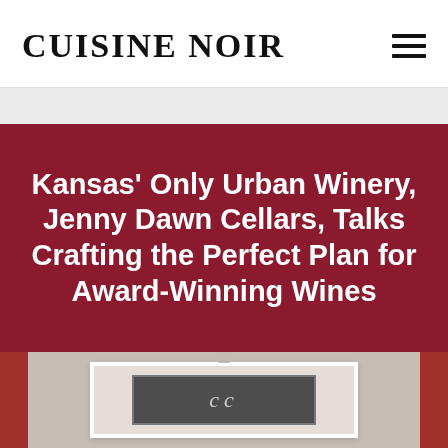CUISINE NOIR
Kansas' Only Urban Winery, Jenny Dawn Cellars, Talks Crafting the Perfect Plan for Award-Winning Wines
[Figure (photo): Partial photo of Jenny Dawn Cellars signage showing a white framed chalkboard sign with stylized cursive lettering, flanked by dark red/maroon side panels, mounted on a light colored wall]